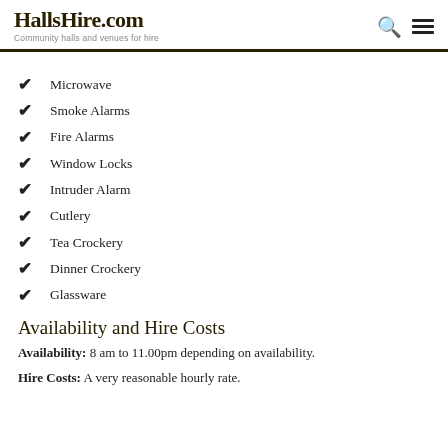HallsHire.com — Community halls and venues for hire
Microwave
Smoke Alarms
Fire Alarms
Window Locks
Intruder Alarm
Cutlery
Tea Crockery
Dinner Crockery
Glassware
Availability and Hire Costs
Availability: 8 am to 11.00pm depending on availability.
Hire Costs: A very reasonable hourly rate.